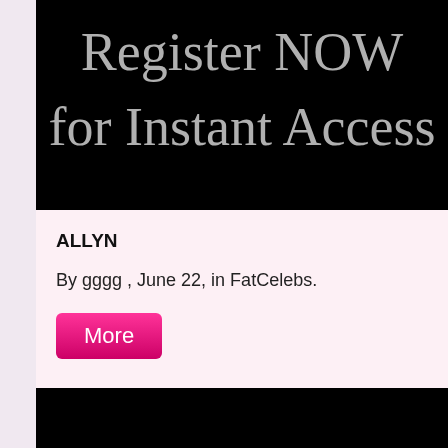[Figure (screenshot): Black banner with large gray text 'Register NOW' and partially visible 'for Instant Access' below]
ALLYN
By gggg , June 22, in FatCelebs.
More
[Figure (screenshot): Black banner at bottom of page, partially visible]